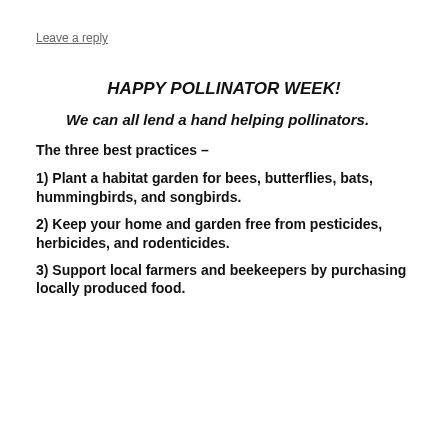Leave a reply
HAPPY POLLINATOR WEEK!
We can all lend a hand helping pollinators.
The three best practices –
1) Plant a habitat garden for bees, butterflies, bats, hummingbirds, and songbirds.
2) Keep your home and garden free from pesticides, herbicides, and rodenticides.
3) Support local farmers and beekeepers by purchasing locally produced food.